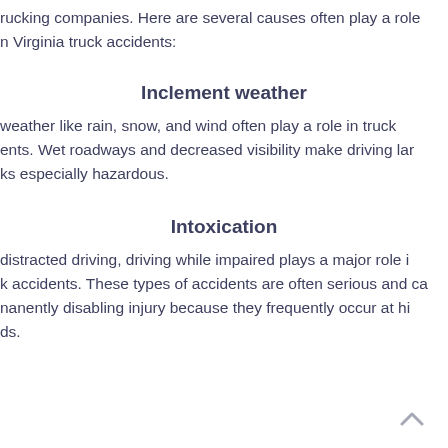trucking companies. Here are several causes often play a role in Virginia truck accidents:
Inclement weather
weather like rain, snow, and wind often play a role in truck accidents. Wet roadways and decreased visibility make driving large trucks especially hazardous.
Intoxication
distracted driving, driving while impaired plays a major role in truck accidents. These types of accidents are often serious and can cause permanently disabling injury because they frequently occur at high speeds.